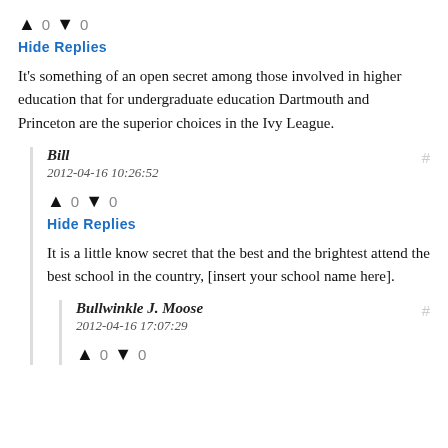↑ 0 ↓ 0
Hide Replies
It's something of an open secret among those involved in higher education that for undergraduate education Dartmouth and Princeton are the superior choices in the Ivy League.
Bill
2012-04-16 10:26:52
↑ 0 ↓ 0
Hide Replies
It is a little know secret that the best and the brightest attend the best school in the country, [insert your school name here].
Bullwinkle J. Moose
2012-04-16 17:07:29
↑ 0 ↓ 0